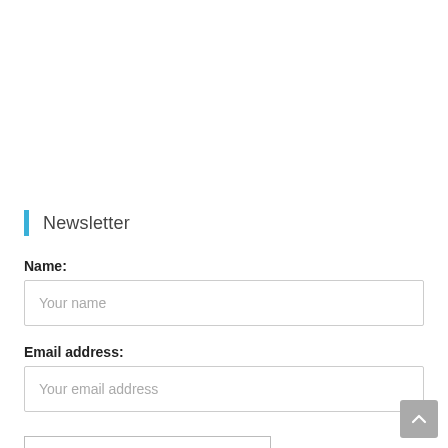Newsletter
Name:
Your name
Email address:
Your email address
SUBMIT